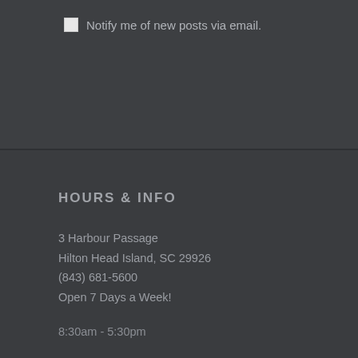Notify me of new posts via email.
HOURS & INFO
3 Harbour Passage
Hilton Head Island, SC 29926
(843) 681-5600
Open 7 Days a Week!
8:30am - 5:30pm